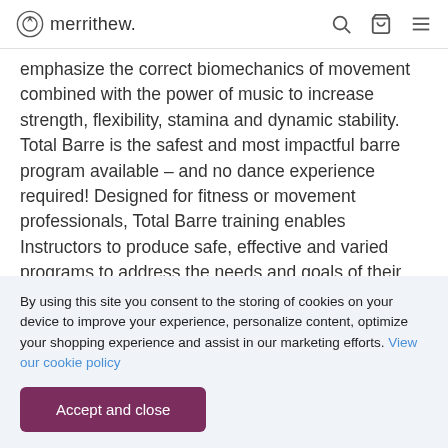merrithew.
emphasize the correct biomechanics of movement combined with the power of music to increase strength, flexibility, stamina and dynamic stability. Total Barre is the safest and most impactful barre program available – and no dance experience required! Designed for fitness or movement professionals, Total Barre training enables Instructors to produce safe, effective and varied programs to address the needs and goals of their clients. “Our goal is to continuously provide superior programming, services and equipment lines for professional and consumer use,” explained Lindsay C
By using this site you consent to the storing of cookies on your device to improve your experience, personalize content, optimize your shopping experience and assist in our marketing efforts. View our cookie policy
Accept and close